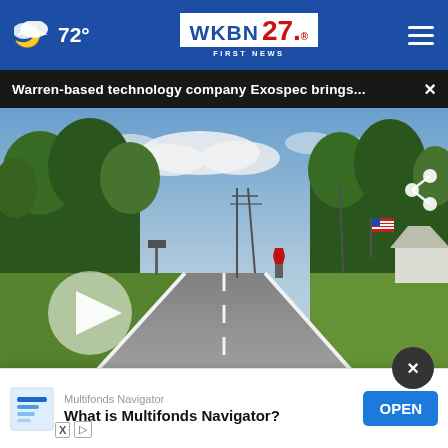72° WKBN 27 FIRST NEWS
Warren-based technology company Exospec brings... ×
[Figure (screenshot): Video thumbnail showing a rural road scene with trees, utility poles, a stop sign intersection with an American flag, and houses on the right side. A semi-transparent play button is overlaid on the left side.]
[Figure (screenshot): Partial news list: Hyundai logo thumbnail with partially visible headline, Cedar Point thumbnail with headline 'Cedar Point to host hiring event for']
Multifonds Navigator
What is Multifonds Navigator? OPEN
Suspects of the alleged field forced h...